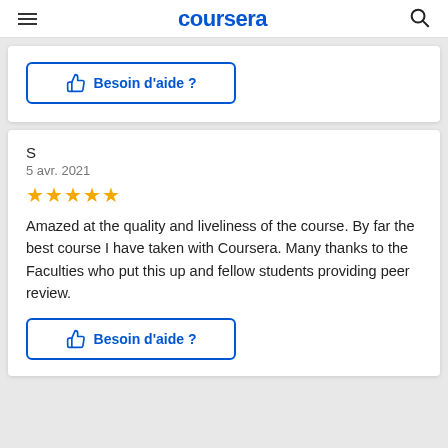coursera
[Figure (other): Button with thumbs-up icon: Besoin d'aide ?]
S
5 avr. 2021
[Figure (other): 5 gold stars rating]
Amazed at the quality and liveliness of the course. By far the best course I have taken with Coursera. Many thanks to the Faculties who put this up and fellow students providing peer review.
[Figure (other): Button with thumbs-up icon: Besoin d'aide ?]